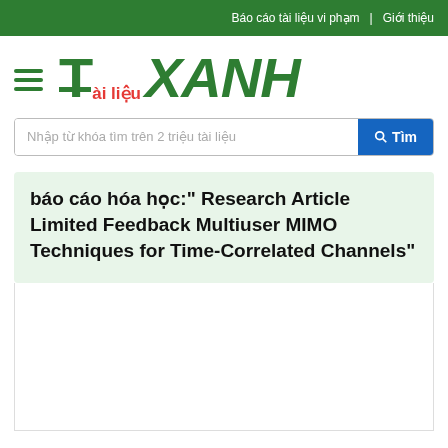Báo cáo tài liệu vi phạm | Giới thiệu
[Figure (logo): Tài liệu XANH logo with hamburger menu icon on the left, stylized T with red 'ài liệu' and bold green italic 'XANH']
Nhập từ khóa tìm trên 2 triệu tài liệu
báo cáo hóa học:" Research Article Limited Feedback Multiuser MIMO Techniques for Time-Correlated Channels"